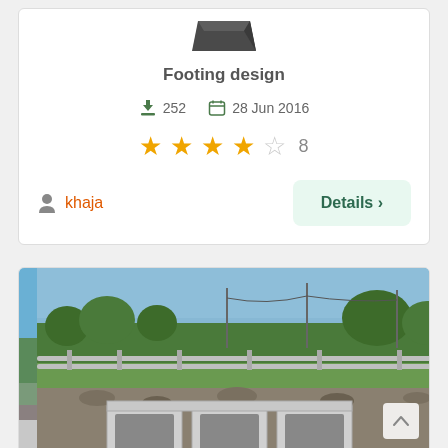[Figure (illustration): 3D dark polygon/trapezoid shape icon representing a footing design]
Footing design
252   28 Jun 2016
[Figure (infographic): 4 filled gold stars and 1 empty star, rating count 8]
khaja
Details >
[Figure (photo): Outdoor photo showing three precast concrete box culverts in foreground with guardrail, telephone poles, trees, and blue sky in background]